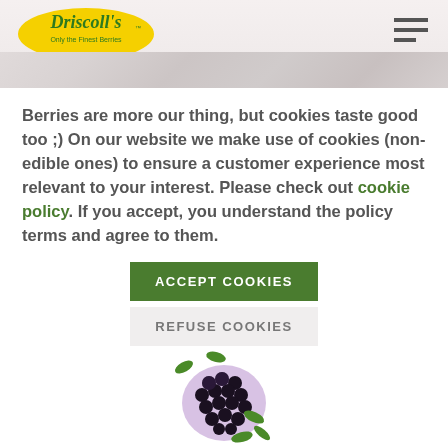[Figure (screenshot): Driscoll's website header with logo on yellow background and hamburger menu icon, with a berry dessert image strip below]
Berries are more our thing, but cookies taste good too ;) On our website we make use of cookies (non-edible ones) to ensure a customer experience most relevant to your interest. Please check out cookie policy. If you accept, you understand the policy terms and agree to them.
[Figure (illustration): Green button labeled ACCEPT COOKIES]
[Figure (illustration): Light gray button labeled REFUSE COOKIES]
[Figure (illustration): Blackberry illustration with green leaves/splashes]